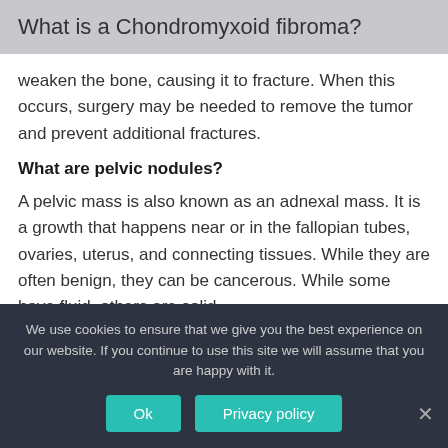What is a Chondromyxoid fibroma?
weaken the bone, causing it to fracture. When this occurs, surgery may be needed to remove the tumor and prevent additional fractures.
What are pelvic nodules?
A pelvic mass is also known as an adnexal mass. It is a growth that happens near or in the fallopian tubes, ovaries, uterus, and connecting tissues. While they are often benign, they can be cancerous. While some have fluid, others are solid.
We use cookies to ensure that we give you the best experience on our website. If you continue to use this site we will assume that you are happy with it.